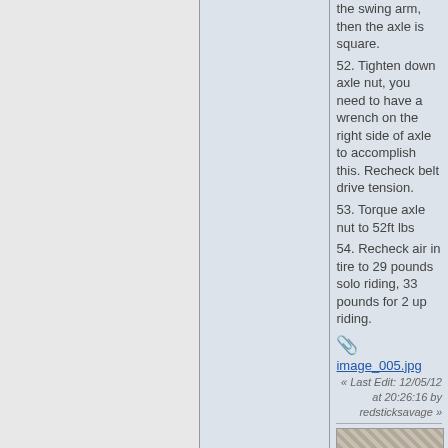the swing arm, then the axle is square.
52. Tighten down axle nut, you need to have a wrench on the right side of axle to accomplish this. Recheck belt drive tension.
53. Torque axle nut to 52ft lbs
54. Recheck air in tire to 29 pounds solo riding, 33 pounds for 2 up riding.
image_005.jpg
« Last Edit: 12/05/12 at 20:26:16 by redsticksavage »
[Figure (photo): A close-up photo of what appears to be a metallic mesh or braided surface, partially visible at the bottom of the page.]